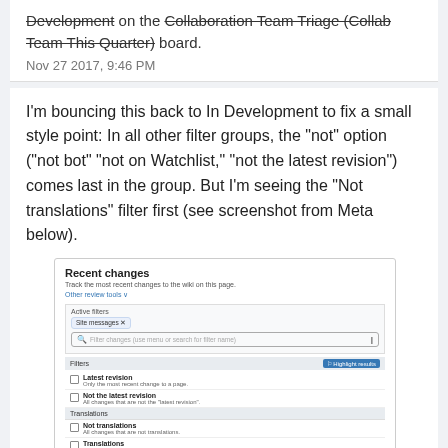Development on the Collaboration Team Triage (Collab Team This Quarter) board.
Nov 27 2017, 9:46 PM
I'm bouncing this back to In Development to fix a small style point: In all other filter groups, the "not" option ("not bot" "not on Watchlist," "not the latest revision") comes last in the group. But I'm seeing the "Not translations" filter first (see screenshot from Meta below).
[Figure (screenshot): Screenshot of the Recent changes filter panel on a wiki, showing filter groups including Latest revision, Not the latest revision, Translations (with Not translations, Translations, Site messages filters).]
Please re-order the filters as follows: